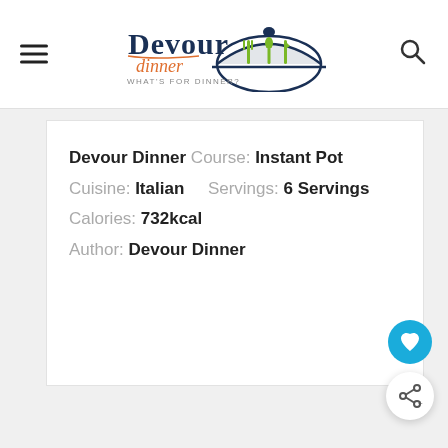Devour Dinner — WHAT'S FOR DINNER?
Devour Dinner Course: Instant Pot Cuisine: Italian Servings: 6 Servings Calories: 732kcal Author: Devour Dinner